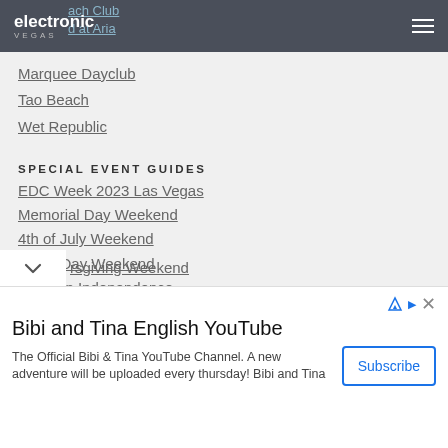electronic vegas
Marquee Dayclub
Tao Beach
Wet Republic
SPECIAL EVENT GUIDES
EDC Week 2023 Las Vegas
Memorial Day Weekend
4th of July Weekend
Labor Day Weekend
Mexican Independence
Halloween Weekend
...sgiving Weekend
[Figure (other): Advertisement banner: Bibi and Tina English YouTube channel with Subscribe button]